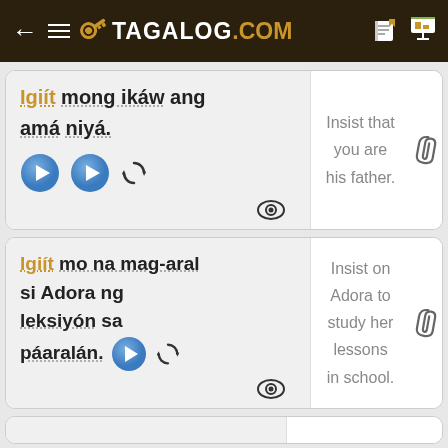← ≡ 🔑 TAGALOG.COM
Igiít mong ikáw ang amá niyá.
Insist that you are his father.
Igiít mo na mag-aral si Adora ng leksiyón sa páaralán.
Insist on Adora to study her lessons in school.